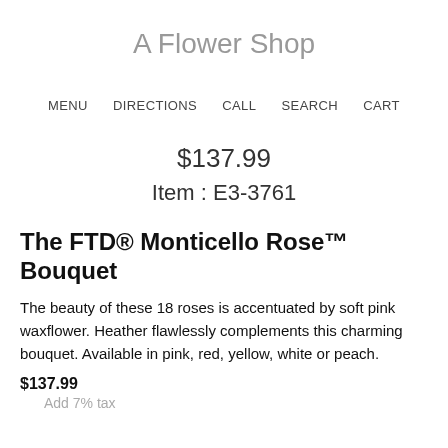A Flower Shop
MENU   DIRECTIONS   CALL   SEARCH   CART
$137.99
Item : E3-3761
The FTD® Monticello Rose™ Bouquet
The beauty of these 18 roses is accentuated by soft pink waxflower. Heather flawlessly complements this charming bouquet. Available in pink, red, yellow, white or peach.
$137.99
Add 7% tax